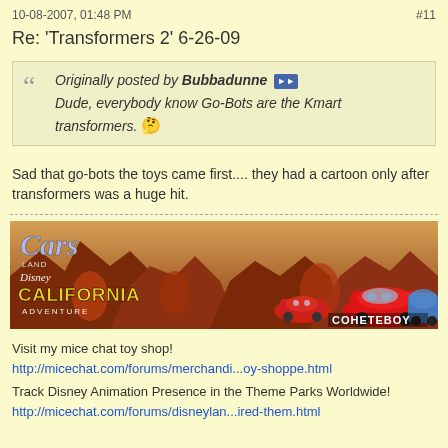10-08-2007, 01:48 PM   #11
Re: 'Transformers 2' 6-26-09
Originally posted by Bubbadunne
Dude, everybody know Go-Bots are the Kmart transformers. 🤔
Sad that go-bots the toys came first.... they had a cartoon only after transformers was a huge hit.
[Figure (photo): Banner advertisement for Disney California Adventure Cars Land, showing Lightning McQueen and Guido characters against a desert rock backdrop. Text reads 'Cars Land', 'Disney California Adventure', 'COHETEBOY']
Visit my mice chat toy shop!
http://micechat.com/forums/merchandi...oy-shoppe.html

Track Disney Animation Presence in the Theme Parks Worldwide!
http://micechat.com/forums/disneylan...ired-them.html